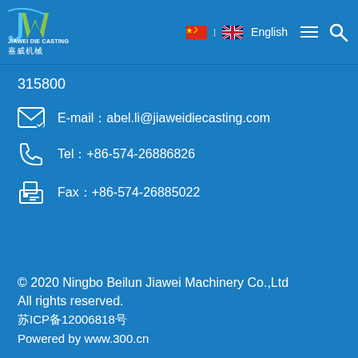[Figure (logo): JiaWei Die Casting logo with stylized JW letters in green/blue, company name in Chinese 嘉威机械]
English
315800
E-mail：abel.li@jiaweidiecasting.com
Tel：+86-574-26886826
Fax：+86-574-26885022
© 2020  Ningbo Beilun Jiawei Machinery Co.,Ltd
All rights reserved.
苏ICP备12006818号
Powered by www.300.cn